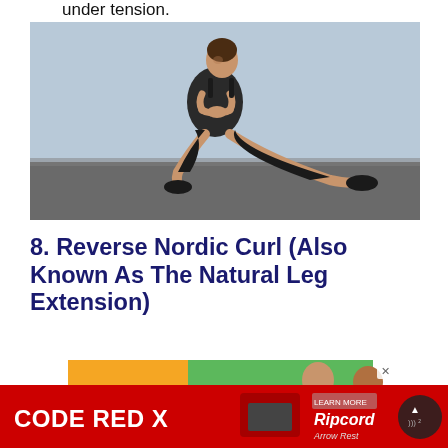under tension.
[Figure (photo): Woman performing a lateral lunge / side squat exercise in black athletic wear against a light blue wall background]
8. Reverse Nordic Curl (Also Known As The Natural Leg Extension)
[Figure (screenshot): Advertisement banner showing orange and green background with large '47' text and people images]
[Figure (screenshot): Bottom advertisement bar with red background showing 'CODE RED X' text and Ripcord Arrow Rest advertisement]